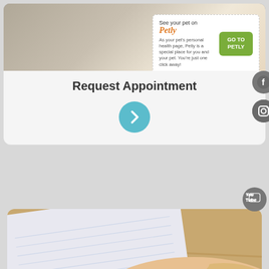[Figure (photo): Photo of person at computer desk, partially visible]
See your pet on Petly
As your pet's personal health page, Petly is a special place for you and your pet. You're just one click away!
Request Appointment
[Figure (illustration): Teal circular button with right-pointing chevron arrow]
[Figure (logo): Facebook social media icon - dark circle with F]
[Figure (logo): Instagram social media icon - dark circle with camera]
[Figure (logo): YouTube social media icon - dark circle with YouTube play button]
[Figure (photo): Photo of a hand writing on a document/form with a red pen, on a wooden surface]
Accessibility View  ×